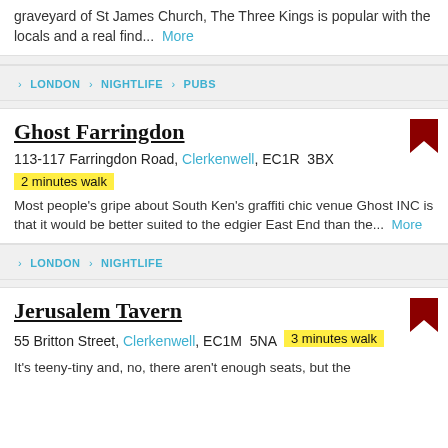graveyard of St James Church, The Three Kings is popular with the locals and a real find... More
› LONDON › NIGHTLIFE › PUBS
Ghost Farringdon
113-117 Farringdon Road, Clerkenwell, EC1R 3BX
2 minutes walk
Most people's gripe about South Ken's graffiti chic venue Ghost INC is that it would be better suited to the edgier East End than the... More
› LONDON › NIGHTLIFE
Jerusalem Tavern
55 Britton Street, Clerkenwell, EC1M 5NA  3 minutes walk
It's teeny-tiny and, no, there aren't enough seats, but the